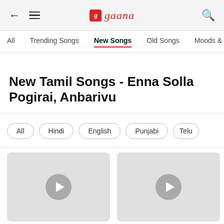← ≡  g gaana  🔍
All
Trending Songs
New Songs
Old Songs
Moods & C
New Tamil Songs - Enna Solla Pogirai, Anbarivu
All
Hindi
English
Punjabi
Telu
[Figure (screenshot): Two music album thumbnail cards with play button icons on grey background]
[Figure (screenshot): Second music album thumbnail card with play button icon on grey background]